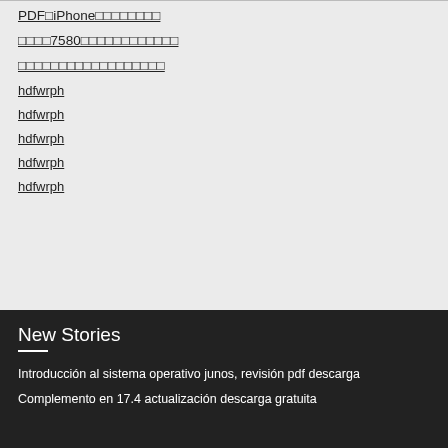PDF�iPhone��������
����7580������������
������������������
hdfwrph
hdfwrph
hdfwrph
hdfwrph
hdfwrph
New Stories
Introducción al sistema operativo junos, revisión pdf descarga
Complemento en 17.4 actualización descarga gratuita